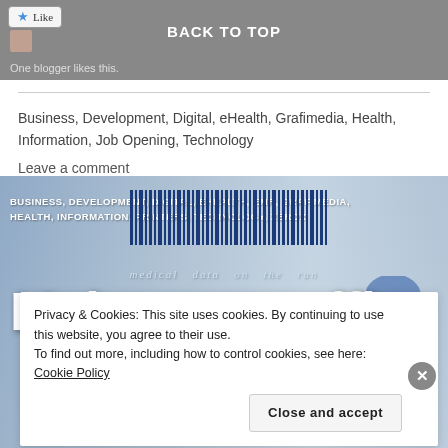BACK TO TOP
One blogger likes this.
Business, Development, Digital, eHealth, Grafimedia, Health, Information, Job Opening, Technology
Leave a comment
[Figure (screenshot): Blog page banner showing categories: BUSINESS, DEVELOPMENT, DIGITAL, EHEALTH, EMR, GRAFIMEDIA, HEALTH, INFORMATION, PRINTERS, TECHNOLOGY, XEROX with tagline 'medical data on the run' and headline 'Make your office']
Privacy & Cookies: This site uses cookies. By continuing to use this website, you agree to their use.
To find out more, including how to control cookies, see here: Cookie Policy
Close and accept